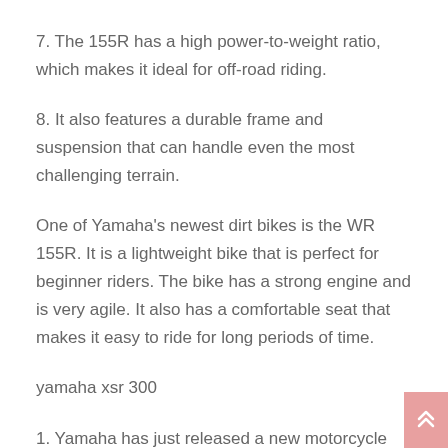7. The 155R has a high power-to-weight ratio, which makes it ideal for off-road riding.
8. It also features a durable frame and suspension that can handle even the most challenging terrain.
One of Yamaha’s newest dirt bikes is the WR 155R. It is a lightweight bike that is perfect for beginner riders. The bike has a strong engine and is very agile. It also has a comfortable seat that makes it easy to ride for long periods of time.
yamaha xsr 300
1. Yamaha has just released a new motorcycle that is sure to excite riders of all levels of experience- the